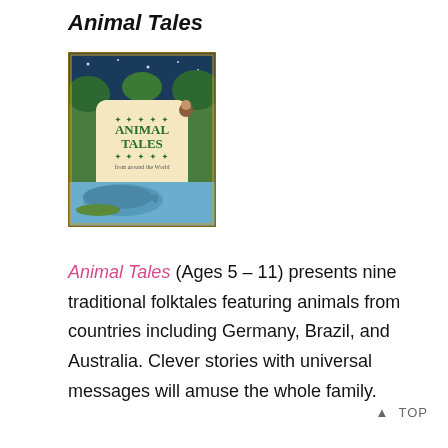Animal Tales
[Figure (illustration): Book cover of 'Animal Tales' featuring colorful illustrated animals including a whale, monkey, and various other animals in a jungle/nature setting with decorative border design.]
Animal Tales (Ages 5 – 11) presents nine traditional folktales featuring animals from countries including Germany, Brazil, and Australia. Clever stories with universal messages will amuse the whole family.
▲ TOP